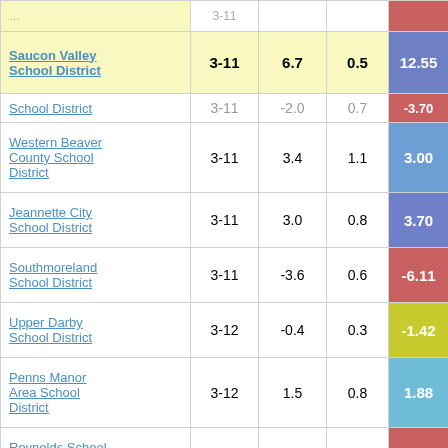| School District | Grades | Col3 | Col4 | Score |
| --- | --- | --- | --- | --- |
| [partial top row] | 3-11 | -2.0 | 0.7 | -3.70 |
| Saucon Valley School District | 3-11 | 6.7 | 0.5 | 12.55 |
| School District | 3-11 | -2.0 | 0.7 | -3.70 |
| Western Beaver County School District | 3-11 | 3.4 | 1.1 | 3.00 |
| Jeannette City School District | 3-11 | 3.0 | 0.8 | 3.70 |
| Southmoreland School District | 3-11 | -3.6 | 0.6 | -6.11 |
| Upper Darby School District | 3-12 | -0.4 | 0.3 | -1.42 |
| Penns Manor Area School District | 3-12 | 1.5 | 0.8 | 1.88 |
| Reynolds School District | 3-10 | -3.3 | 0.8 | -4.36 |
| [partial bottom row] |  |  |  |  |